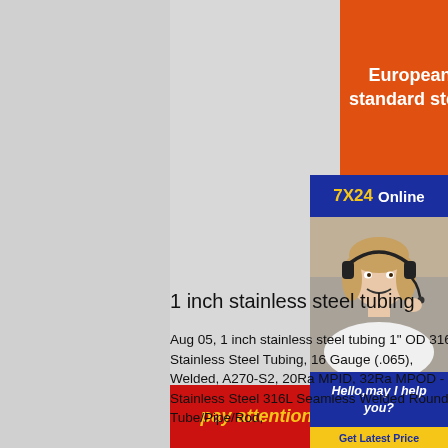| Category | Standards |
| --- | --- |
| European standard steel | S355JRK2,S355M/ML,
275N/NL,S355N/NL,
S420/460M/ML,
S420N/NL ,S460NNL |
| American standard steel | A70...
A57...
A...
A515 Gr.55-... |
[Figure (photo): Customer service agent with headset smiling, with 7X24 Online banner, Hello may I help you text, and Get Latest Price button]
pay attention to
1 inch stainless steel tubing
Aug 05, 1 inch stainless steel tubing 1" OD 316L Stainless Steel Tubing, 16 Gauge (.065), Welded, A270-S2, 20Ra MPID, 32Ra MPOD - Stainless Steel 316L Seamless Welded Round Tube/Pipe/Rod,